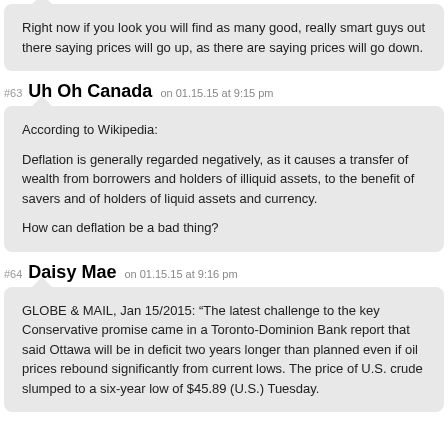Right now if you look you will find as many good, really smart guys out there saying prices will go up, as there are saying prices will go down.
#63 Uh Oh Canada on 01.15.15 at 9:15 pm
According to Wikipedia:

Deflation is generally regarded negatively, as it causes a transfer of wealth from borrowers and holders of illiquid assets, to the benefit of savers and of holders of liquid assets and currency.

How can deflation be a bad thing?
#64 Daisy Mae on 01.15.15 at 9:16 pm
GLOBE & MAIL, Jan 15/2015: “The latest challenge to the key Conservative promise came in a Toronto-Dominion Bank report that said Ottawa will be in deficit two years longer than planned even if oil prices rebound significantly from current lows. The price of U.S. crude slumped to a six-year low of $45.89 (U.S.) Tuesday.